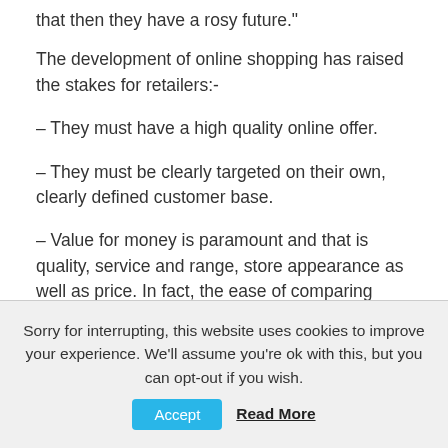that then they have a rosy future."
The development of online shopping has raised the stakes for retailers:-
– They must have a high quality online offer.
– They must be clearly targeted on their own, clearly defined customer base.
– Value for money is paramount and that is quality, service and range, store appearance as well as price. In fact, the ease of comparing prices, such as over a mobile phone, is taking price out of the equation altogether.
Sorry for interrupting, this website uses cookies to improve your experience. We'll assume you're ok with this, but you can opt-out if you wish. Accept Read More